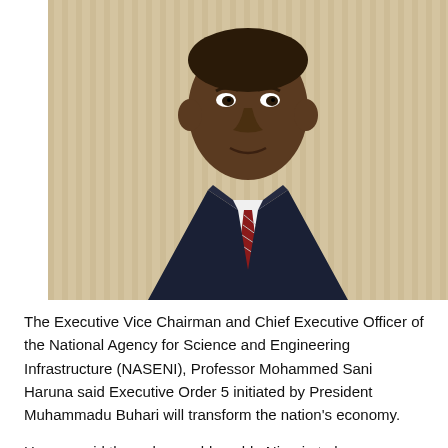[Figure (photo): Portrait of Professor Mohammed Sani Haruna, a man in a dark suit with a red striped tie, seated against a cream/beige striped background]
The Executive Vice Chairman and Chief Executive Officer of the National Agency for Science and Engineering Infrastructure (NASENI), Professor Mohammed Sani Haruna said Executive Order 5 initiated by President Muhammadu Buhari will transform the nation's economy.
Haruna said the order would enable Nigeria to have a transition from a commodity based economy to